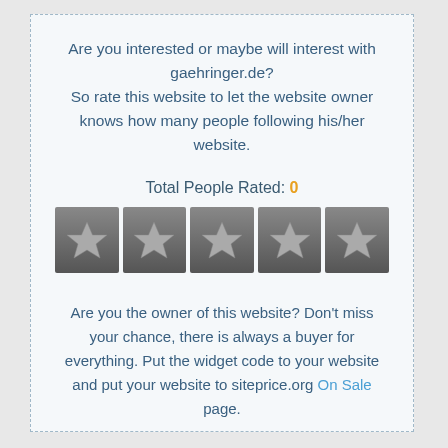Are you interested or maybe will interest with gaehringer.de? So rate this website to let the website owner knows how many people following his/her website.
Total People Rated: 0
[Figure (other): Five dark star rating icons in a row, all unselected (gray)]
Are you the owner of this website? Don't miss your chance, there is always a buyer for everything. Put the widget code to your website and put your website to siteprice.org On Sale page.